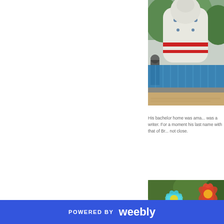[Figure (photo): Outdoor photo of a large white decorative statue or sculpture with blue and red accents, set in front of a blue water fountain feature, with a brick/stone plaza area below, people visible in the background]
His bachelor home was ama... was a writer. For a moment his last name with that of Br... not close.
[Figure (photo): Outdoor photo showing large glass flower sculptures (teal/blue and red) among green trees]
POWERED BY weebly